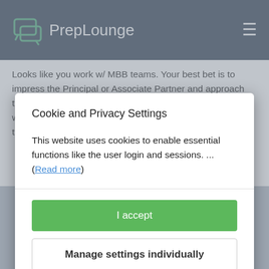PrepLounge
Looks like you work w/ MBB teams. Your best bet is to impress the Principal or Associate Partner and approach them just before the end of a case. The partners probably won't spend enough time with you to know (and would ask the consulting staff for feedback anyway), and the actual
Cookie and Privacy Settings
This website uses cookies to enable essential functions like the user login and sessions. ... (Read more)
I accept
Manage settings individually